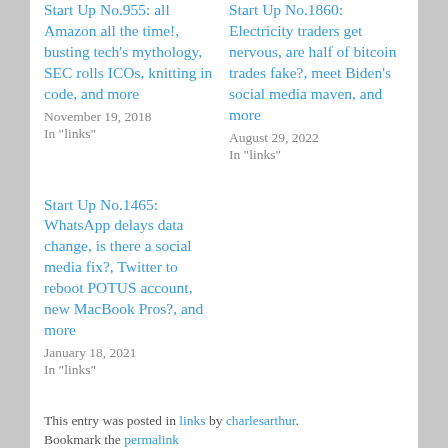Start Up No.955: all Amazon all the time!, busting tech's mythology, SEC rolls ICOs, knitting in code, and more
November 19, 2018
In "links"
Start Up No.1860: Electricity traders get nervous, are half of bitcoin trades fake?, meet Biden's social media maven, and more
August 29, 2022
In "links"
Start Up No.1465: WhatsApp delays data change, is there a social media fix?, Twitter to reboot POTUS account, new MacBook Pros?, and more
January 18, 2021
In "links"
This entry was posted in links by charlesarthur. Bookmark the permalink.